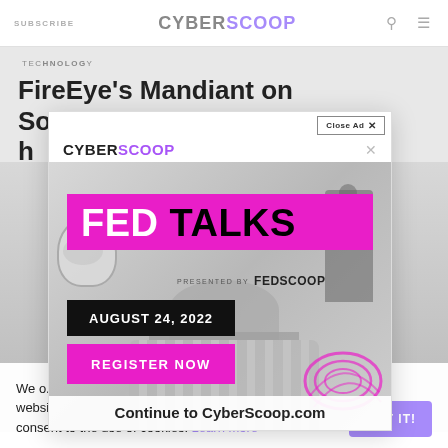SUBSCRIBE | CYBERSCOOP
TECHNOLOGY
FireEye's Mandiant on SolarWinds hack: 'We found'
[Figure (infographic): FED TALKS advertisement overlay. Shows FED TALKS presented by FEDSCOOP banner in magenta, Capitol building background, astronaut figure, statue, date AUGUST 24, 2022, REGISTER NOW button, and Continue to CyberScoop.com bar at bottom. Also shows CyberScoop logo with Close Ad button and X dismiss button.]
We o... best experience across all Scoop News Group websites. By using Scoop News Group websites, you consent to the use of cookies. Learn more
GOT IT!